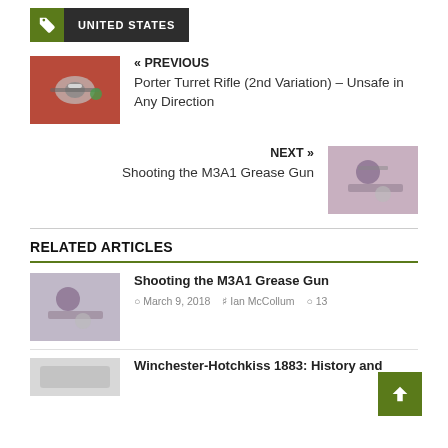UNITED STATES
« PREVIOUS
Porter Turret Rifle (2nd Variation) – Unsafe in Any Direction
NEXT »
Shooting the M3A1 Grease Gun
RELATED ARTICLES
Shooting the M3A1 Grease Gun
March 9, 2018 · Ian McCollum · 13
Winchester-Hotchkiss 1883: History and